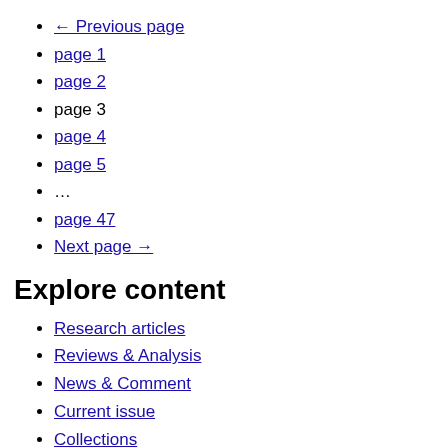← Previous page
page 1
page 2
page 3
page 4
page 5
...
page 47
Next page →
Explore content
Research articles
Reviews & Analysis
News & Comment
Current issue
Collections
Follow us on Twitter
Sign up for alerts
RSS feed
About the journal